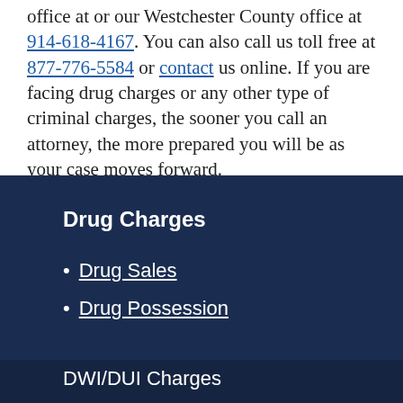Call a lawyer at our law firm at our New York City office at or our Westchester County office at 914-618-4167. You can also call us toll free at 877-776-5584 or contact us online. If you are facing drug charges or any other type of criminal charges, the sooner you call an attorney, the more prepared you will be as your case moves forward.
Drug Charges
Drug Sales
Drug Possession
DWI/DUI Charges
Traffic Violations
White Collar Crimes
Drug Charges